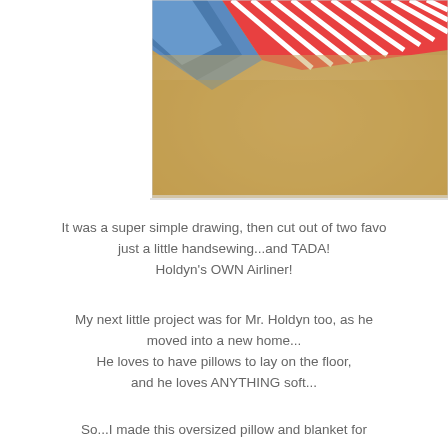[Figure (photo): Close-up photo of sandy texture with colorful striped fabric (blue, red, white stripes) visible at the top edge, appearing to be a beach bag or pillow on sand.]
It was a super simple drawing, then cut out of two favo just a little handsewing...and TADA! Holdyn's OWN Airliner!
My next little project was for Mr. Holdyn too, as he moved into a new home... He loves to have pillows to lay on the floor, and he loves ANYTHING soft...
So...I made this oversized pillow and blanket for